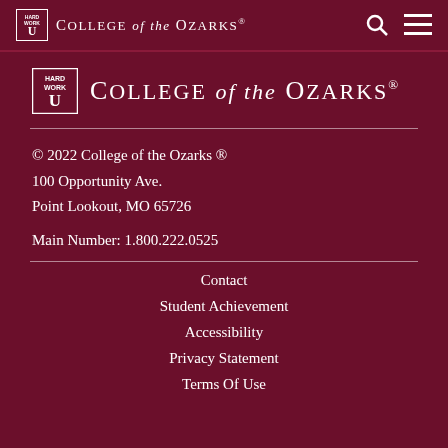College of the Ozarks
[Figure (logo): College of the Ozarks logo with Hard Work U shield icon, large version]
© 2022 College of the Ozarks ®
100 Opportunity Ave.
Point Lookout, MO 65726
Main Number: 1.800.222.0525
Contact
Student Achievement
Accessibility
Privacy Statement
Terms Of Use